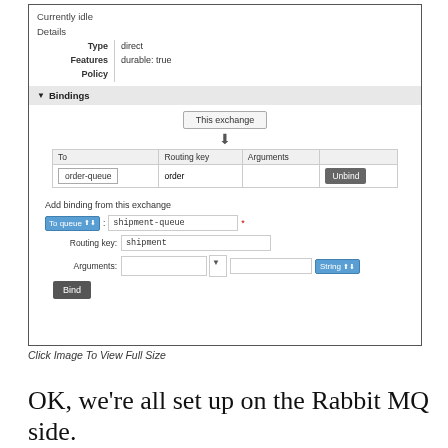[Figure (screenshot): RabbitMQ management UI screenshot showing exchange details with Bindings section. Shows 'Currently idle' status, Details table with Type: direct and Features: durable: true, Bindings section with 'This exchange' box and arrow pointing to a table with order-queue bound with routing key 'order', and an Unbind button. Below is 'Add binding from this exchange' form with To queue: shipment-queue, Routing key: shipment, Arguments field with String type selector, and a Bind button.]
Click Image To View Full Size
OK, we're all set up on the Rabbit MQ side.